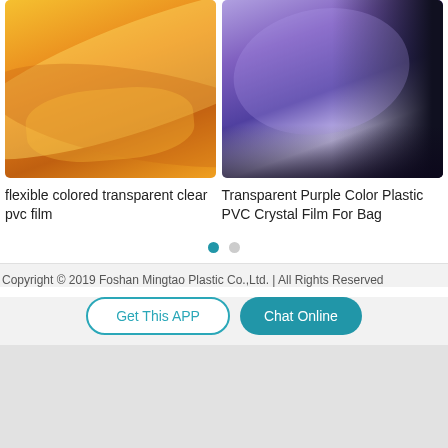[Figure (photo): Two product images side by side: left shows orange/amber flexible transparent clear PVC film sheets, right shows a roll of transparent purple color plastic PVC crystal film]
flexible colored transparent clear pvc film
Transparent Purple Color Plastic PVC Crystal Film For Bag
[Figure (other): Pagination dots: one filled blue dot and one gray dot]
Copyright © 2019 Foshan Mingtao Plastic Co.,Ltd. | All Rights Reserved
Get This APP
Chat Online